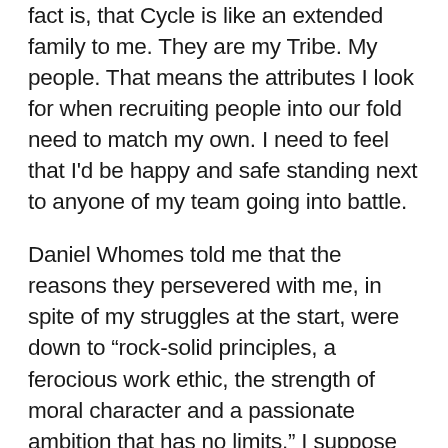fact is, that Cycle is like an extended family to me. They are my Tribe. My people. That means the attributes I look for when recruiting people into our fold need to match my own. I need to feel that I'd be happy and safe standing next to anyone of my team going into battle.
Daniel Whomes told me that the reasons they persevered with me, in spite of my struggles at the start, were down to “rock-solid principles, a ferocious work ethic, the strength of moral character and a passionate ambition that has no limits.” I suppose that has created the foundation of